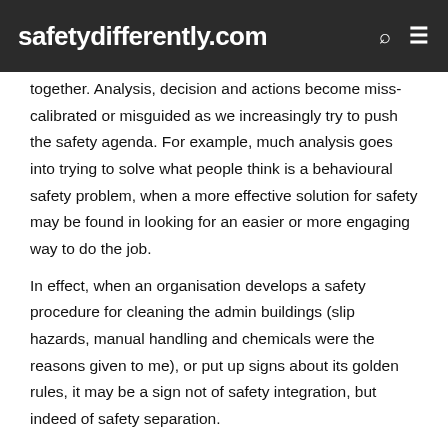safetydifferently.com
together. Analysis, decision and actions become miss-calibrated or misguided as we increasingly try to push the safety agenda. For example, much analysis goes into trying to solve what people think is a behavioural safety problem, when a more effective solution for safety may be found in looking for an easier or more engaging way to do the job.
In effect, when an organisation develops a safety procedure for cleaning the admin buildings (slip hazards, manual handling and chemicals were the reasons given to me), or put up signs about its golden rules, it may be a sign not of safety integration, but indeed of safety separation.
While safety is an important outcome of organisational